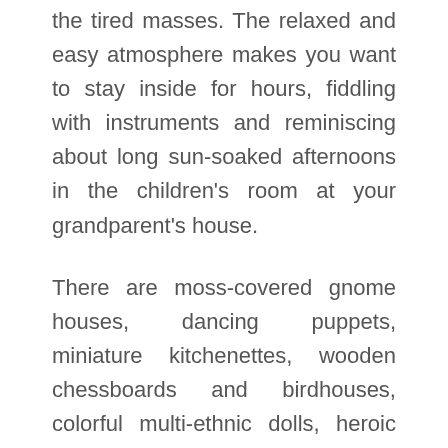the tired masses. The relaxed and easy atmosphere makes you want to stay inside for hours, fiddling with instruments and reminiscing about long sun-soaked afternoons in the children's room at your grandparent's house.
There are moss-covered gnome houses, dancing puppets, miniature kitchenettes, wooden chessboards and birdhouses, colorful multi-ethnic dolls, heroic archers and swordsmen costumes, beautiful old-fashioned storybooks and hand-made mobiles that lull the most anxious child to